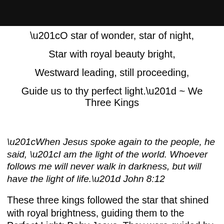[Figure (photo): Dark photographic image at top of page, appears to be a night or dark scene.]
“O star of wonder, star of night,

Star with royal beauty bright,

Westward leading, still proceeding,

Guide us to thy perfect light.” ~ We Three Kings
“When Jesus spoke again to the people, he said, “I am the light of the world. Whoever follows me will never walk in darkness, but will have the light of life.” John 8:12
These three kings followed the star that shined with royal brightness, guiding them to the Perfect Light: Baby Jesus. They were guided by a star, we